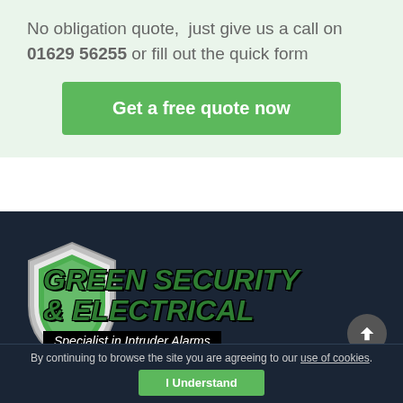No obligation quote,  just give us a call on 01629 56255 or fill out the quick form
Get a free quote now
[Figure (logo): Green Security & Electrical logo with shield icon. Text reads GREEN SECURITY & ELECTRICAL with tagline Specialist in Intruder Alarms]
By continuing to browse the site you are agreeing to our use of cookies.
I Understand